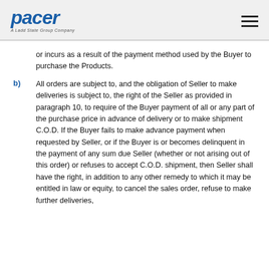Pacer – A Ladd State Group Company
or incurs as a result of the payment method used by the Buyer to purchase the Products.
b) All orders are subject to, and the obligation of Seller to make deliveries is subject to, the right of the Seller as provided in paragraph 10, to require of the Buyer payment of all or any part of the purchase price in advance of delivery or to make shipment C.O.D. If the Buyer fails to make advance payment when requested by Seller, or if the Buyer is or becomes delinquent in the payment of any sum due Seller (whether or not arising out of this order) or refuses to accept C.O.D. shipment, then Seller shall have the right, in addition to any other remedy to which it may be entitled in law or equity, to cancel the sales order, refuse to make further deliveries,